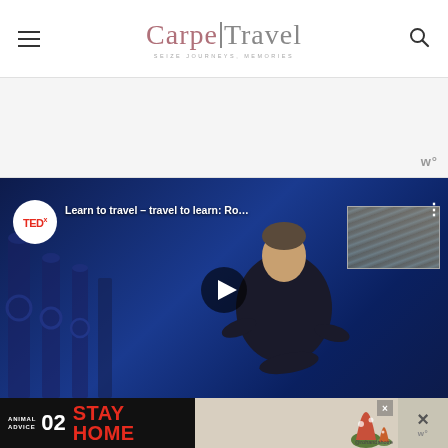Carpe Travel — navigation header with hamburger menu and search icon
[Figure (screenshot): Advertisement banner area — light gray background with 'w°' watermark logo at bottom right]
[Figure (screenshot): Embedded TEDx YouTube video player showing 'Learn to travel – travel to learn: Ro...' with a speaker on stage against blue backdrop, play button visible, TEDx badge in top-left corner]
[Figure (screenshot): Bottom advertisement banner: 'ANIMAL ADVICE 02 STAY HOME @rohandahotre' on dark left side, illustration on right side with close buttons]